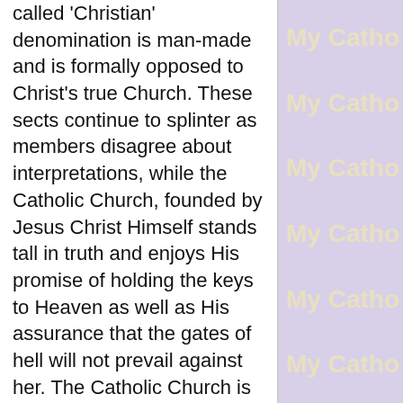called 'Christian' denomination is man-made and is formally opposed to Christ's true Church. These sects continue to splinter as members disagree about interpretations, while the Catholic Church, founded by Jesus Christ Himself stands tall in truth and enjoys His promise of holding the keys to Heaven as well as His assurance that the gates of hell will not prevail against her. The Catholic Church is the only true spiritual home on earth for all people - as the Catholic Church alone was founded by Jesus. The Catholic Faith alone was practiced from the beginning by all the Apostles; it is the faith necessary for your salvation.